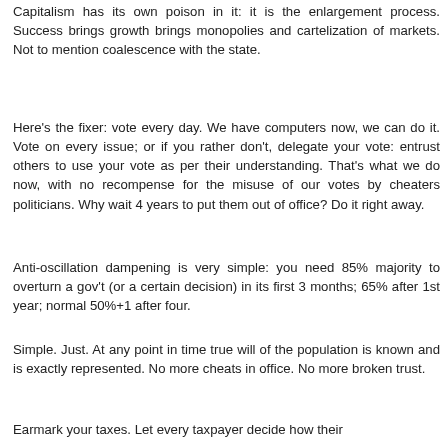Capitalism has its own poison in it: it is the enlargement process. Success brings growth brings monopolies and cartelization of markets. Not to mention coalescence with the state.
Here's the fixer: vote every day. We have computers now, we can do it. Vote on every issue; or if you rather don't, delegate your vote: entrust others to use your vote as per their understanding. That's what we do now, with no recompense for the misuse of our votes by cheaters politicians. Why wait 4 years to put them out of office? Do it right away.
Anti-oscillation dampening is very simple: you need 85% majority to overturn a gov't (or a certain decision) in its first 3 months; 65% after 1st year; normal 50%+1 after four.
Simple. Just. At any point in time true will of the population is known and is exactly represented. No more cheats in office. No more broken trust.
Earmark your taxes. Let every taxpayer decide how their